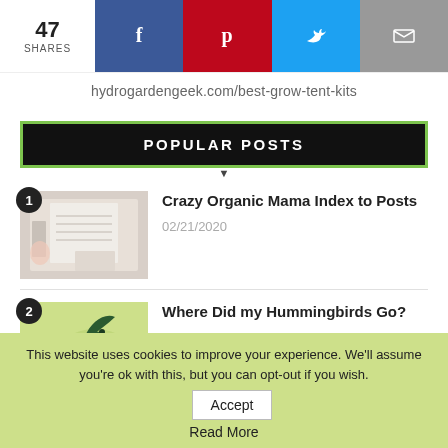47 SHARES | Facebook | Pinterest | Twitter | Email
hydrogardengeek.com/best-grow-tent-kits
POPULAR POSTS
Crazy Organic Mama Index to Posts
02/21/2020
Where Did my Hummingbirds Go?
This website uses cookies to improve your experience. We'll assume you're ok with this, but you can opt-out if you wish.
Accept
Read More